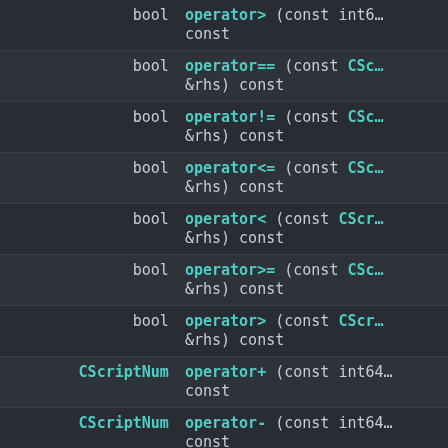| Return | Signature |
| --- | --- |
| bool | operator> (const int6… const |
| bool | operator== (const CSc… &rhs) const |
| bool | operator!= (const CSc… &rhs) const |
| bool | operator<= (const CSc… &rhs) const |
| bool | operator< (const CScr… &rhs) const |
| bool | operator>= (const CSc… &rhs) const |
| bool | operator> (const CScr… &rhs) const |
| CScriptNum | operator+ (const int64… const |
| CScriptNum | operator- (const int64… const |
| CScriptNum | operator+ (const CScr… &rhs) const |